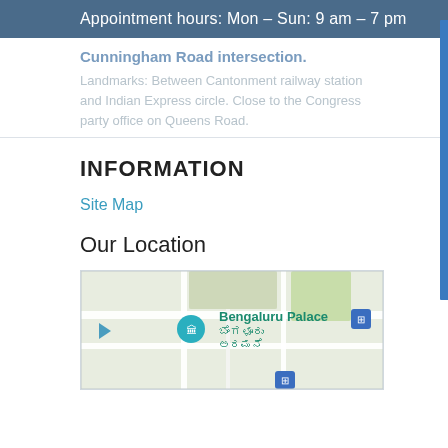Appointment hours: Mon – Sun: 9 am – 7 pm
Cunningham Road intersection.
Landmarks: Between Cantonment railway station and Indian Express circle. Close to the Congress party office on Queens Road.
INFORMATION
Site Map
Our Location
[Figure (map): Google map showing Bengaluru Palace location with pin marker and Kannada text ಬೆಂಗಳೂರು ಅರಮನೆ]